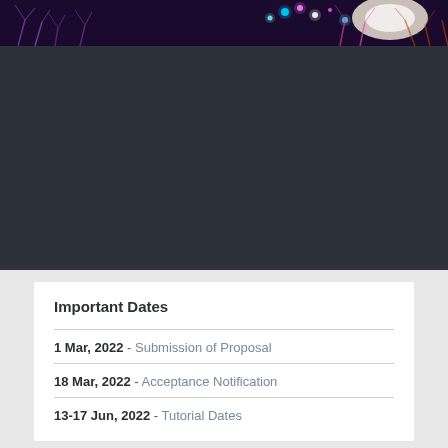[Figure (photo): Dark banner with neural network / tree-like illustration at top, glowing colorful dots on dark background. Purple, blue, pink, and white glowing elements against a dark charcoal background.]
Important Dates
1 Mar, 2022 - Submission of Proposal
18 Mar, 2022 - Acceptance Notification
13-17 Jun, 2022 - Tutorial Dates